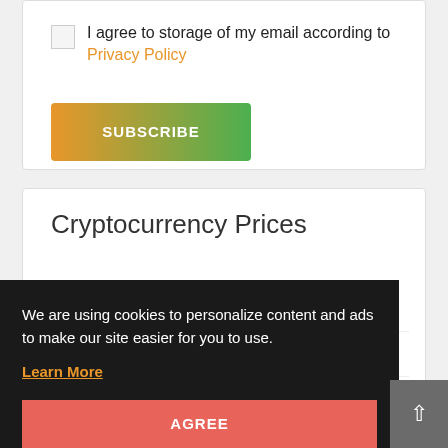I agree to storage of my email according to Privacy Policy
SUBSCRIBE
Cryptocurrency Prices
Bitcoin (BTC)   $19,981.55   -0.5%
We are using cookies to personalize content and ads to make our site easier for you to use.
Learn More
AGREE
BNB (BNB)   $277.71   0.06%